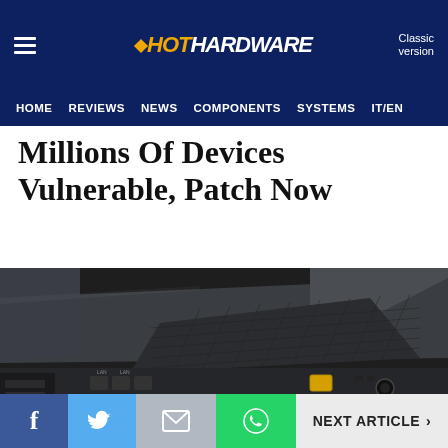HotHardware — HOME | REVIEWS | NEWS | COMPONENTS | SYSTEMS | IT/EN | Classic version
Millions Of Devices Vulnerable, Patch Now
[Figure (photo): Close-up photograph of the back of a dark grey/black wireless router showing ports, antennas, ventilation mesh, Ethernet ports, a yellow WAN port, and a power connector.]
f  t  [mail]  [whatsapp]  NEXT ARTICLE >